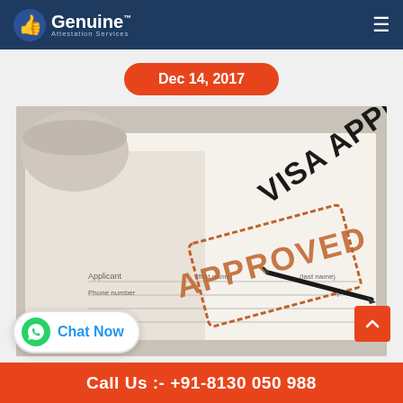Genuine Attestation Services
Dec 14, 2017
[Figure (photo): A visa application form with an APPROVED stamp in red/brown ink and a pen resting on the document]
Chat Now
Call Us :- +91-8130 050 988